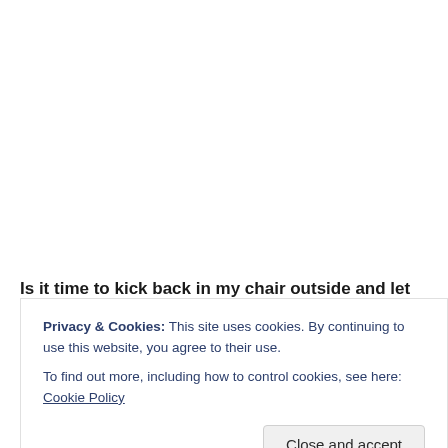Is it time to kick back in my chair outside and let the sun
Privacy & Cookies: This site uses cookies. By continuing to use this website, you agree to their use.
To find out more, including how to control cookies, see here: Cookie Policy
Close and accept
He also aware of and about this freedom that finally blo